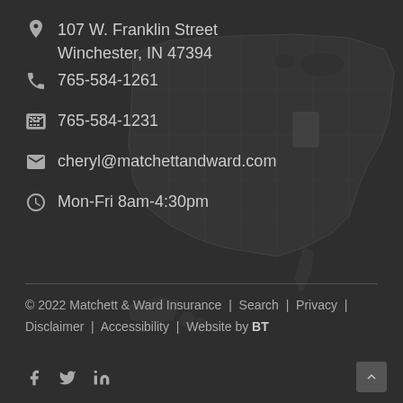[Figure (map): Greyscale outline map of the United States with Indiana highlighted in a slightly lighter shade, used as background decoration]
107 W. Franklin Street
Winchester, IN 47394
765-584-1261
765-584-1231
cheryl@matchettandward.com
Mon-Fri 8am-4:30pm
© 2022 Matchett & Ward Insurance | Search | Privacy | Disclaimer | Accessibility | Website by BT
Social links: f (Facebook), Twitter, LinkedIn; Back to top button